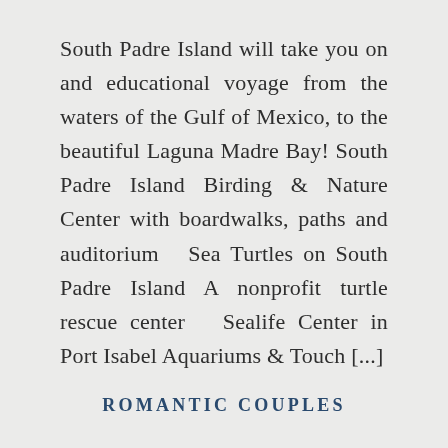South Padre Island will take you on and educational voyage from the waters of the Gulf of Mexico, to the beautiful Laguna Madre Bay! South Padre Island Birding & Nature Center with boardwalks, paths and auditorium  Sea Turtles on South Padre Island A nonprofit turtle rescue center  Sealife Center in Port Isabel Aquariums & Touch [...]
ROMANTIC COUPLES